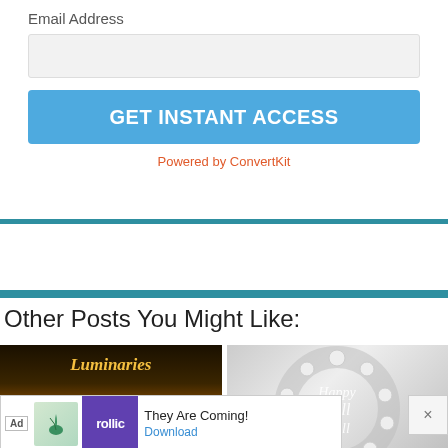Email Address
GET INSTANT ACCESS
Powered by ConvertKit
Other Posts You Might Like:
[Figure (photo): Halloween luminaries craft photo with glowing paper bags and orange moon with witch silhouette, text 'Luminaries']
[Figure (photo): Cotton wreath with calligraphy sign reading 'Happy Fall Y'all']
Hallowe...
[Figure (screenshot): Ad banner: Ad label, plant icon, rollic logo, text 'They Are Coming!' and Download link]
×